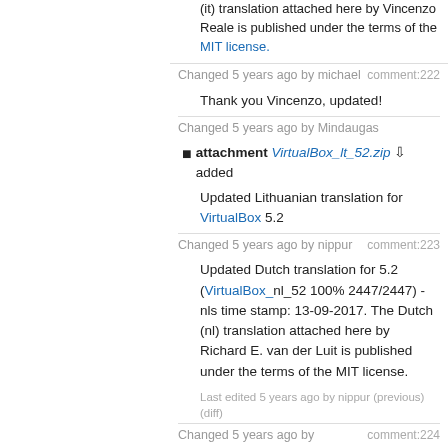(it) translation attached here by Vincenzo Reale is published under the terms of the MIT license.
Changed 5 years ago by michael  comment:222
Thank you Vincenzo, updated!
Changed 5 years ago by Mindaugas
attachment VirtualBox_lt_52.zip added
Updated Lithuanian translation for VirtualBox 5.2
Changed 5 years ago by nippur  comment:223
Updated Dutch translation for 5.2 (VirtualBox_nl_52 100% 2447/2447) - nls time stamp: 13-09-2017. The Dutch (nl) translation attached here by Richard E. van der Luit is published under the terms of the MIT license.
Last edited 5 years ago by nippur (previous) (diff)
Changed 5 years ago by  comment:224